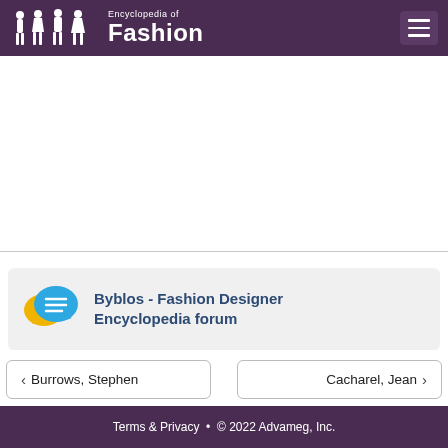Encyclopedia of Fashion
[Figure (other): Advertisement area (blank white space)]
Byblos - Fashion Designer Encyclopedia forum
< Burrows, Stephen
Cacharel, Jean >
Terms & Privacy • © 2022 Advameg, Inc.